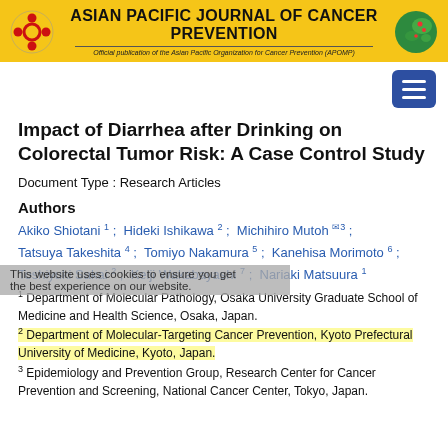Asian Pacific Journal of Cancer Prevention — Official publication of the Asian Pacific Organization for Cancer Prevention (APOMP)
Impact of Diarrhea after Drinking on Colorectal Tumor Risk: A Case Control Study
Document Type : Research Articles
Authors
Akiko Shiotani 1; Hideki Ishikawa 2; Michihiro Mutoh 3; Tatsuya Takeshita 4; Tomiyo Nakamura 5; Kanehisa Morimoto 6; Toshiyuki Sakai 2; Keiji Wakabayashi 7; Nariaki Matsuura 1
1 Department of Molecular Pathology, Osaka University Graduate School of Medicine and Health Science, Osaka, Japan. 2 Department of Molecular-Targeting Cancer Prevention, Kyoto Prefectural University of Medicine, Kyoto, Japan. 3 Epidemiology and Prevention Group, Research Center for Cancer Prevention and Screening, National Cancer Center, Tokyo, Japan.